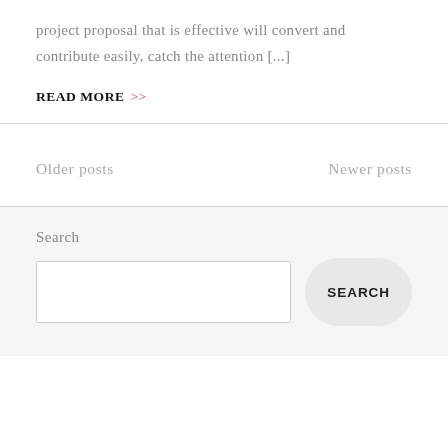project proposal that is effective will convert and contribute easily, catch the attention [...]
READ MORE >>
Older posts
Newer posts
Search